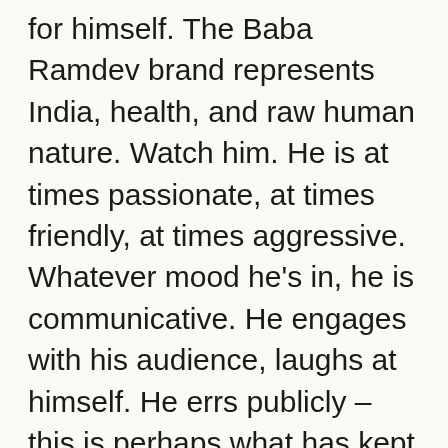for himself. The Baba Ramdev brand represents India, health, and raw human nature. Watch him. He is at times passionate, at times friendly, at times aggressive. Whatever mood he's in, he is communicative. He engages with his audience, laughs at himself. He errs publicly – this is perhaps what has kept his followers intact. They know he can fail from time-to-time. This is his brand – he is a person just like his followers. It is probably one of the main reasons for his phenomenal success.